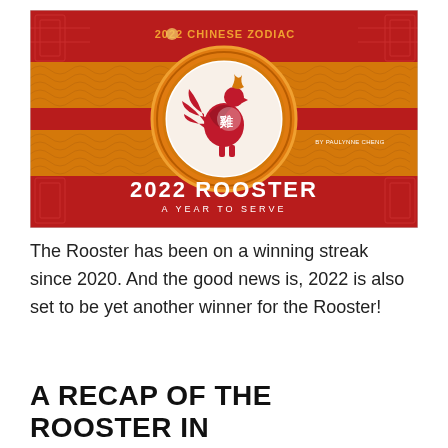[Figure (illustration): A decorative banner image for '2022 Chinese Zodiac: 2022 Rooster — A Year to Serve'. Dark red background with gold Chinese lattice patterns, a central medallion featuring a rooster papercut in red and white inside an ornate gold/orange circular border with Greek-key pattern, flanked by horizontal golden wave/scale bands on red. Text reads '2022 CHINESE ZODIAC' at top in orange/gold, 'BY PAULYNNE CHENG' in small white text, '2022 ROOSTER' in large white text below the medallion, and 'A YEAR TO SERVE' in smaller white text beneath.]
The Rooster has been on a winning streak since 2020. And the good news is, 2022 is also set to be yet another winner for the Rooster!
A RECAP OF THE ROOSTER IN